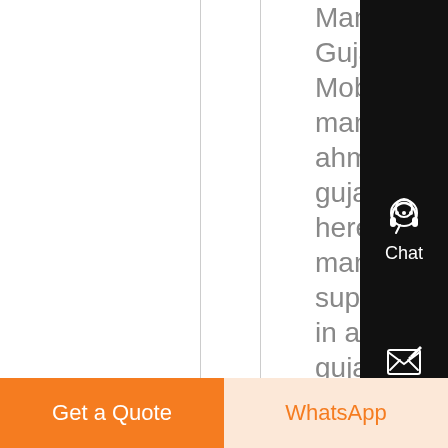Manufacturers in Gujarat For Sale Mobile crusher manufacturer in ahmedabad gujarat indiaFind here jaw crusher manufacturers suppliers exporters in ahmedabad gujarat gujarat as we looking buyers of jaw crusher machine from ll over india jaw crusher is
[Figure (screenshot): Right sidebar with Chat, E-mail, Top, and close (X) icons on a dark/black background]
Get a Quote
WhatsApp